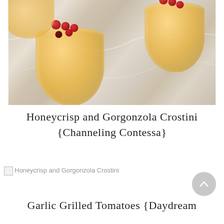[Figure (photo): Overhead photo of two stemless glasses filled with a golden orange drink garnished with fresh red cranberries, placed on a marble surface]
Honeycrisp and Gorgonzola Crostini {Channeling Contessa}
[Figure (photo): Broken image placeholder with alt text: Honeycrisp and Gorgonzola Crostini]
Garlic Grilled Tomatoes {Daydream